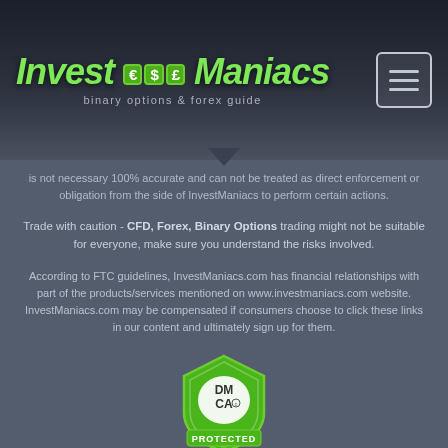[Figure (logo): InvestManiacs logo with green currency badge symbols (€ $ £) and subtitle 'binary options & forex guide' on dark background with financial chart]
is not necessary 100% accurate and can not be treated as direct enforcement or obligation from the side of InvestManiacs to perform certain actions.
Trade with caution - CFD, Forex, Binary Options trading might not be suitable for everyone, make sure you understand the risks involved.
According to FTC guidelines, InvestManiacs.com has financial relationships with part of the products/services mentioned on www.investmaniacs.com website. InvestManiacs.com may be compensated if consumers choose to click these links in our content and ultimately sign up for them.
[Figure (logo): DMCA Protected badge/shield in green and white]